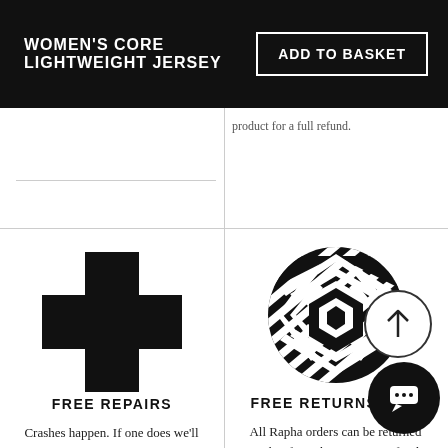WOMEN'S CORE LIGHTWEIGHT JERSEY
ADD TO BASKET
product for a full refund.
[Figure (logo): Black plus/cross symbol representing free repairs service]
FREE REPAIRS
Crashes happen. If one does we'll repair your garment for free to get you back on the road.
[Figure (logo): Circular black and white geometric chevron/zigzag pattern logo representing free returns service]
FREE RETURNS
All Rapha orders can be returned within for either an ex or refund completely free of charge, so you'll